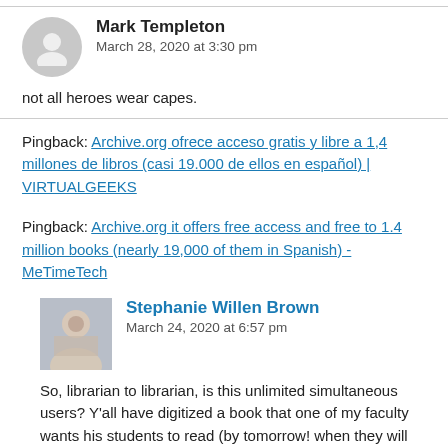Mark Templeton
March 28, 2020 at 3:30 pm
not all heroes wear capes.
Pingback: Archive.org ofrece acceso gratis y libre a 1,4 millones de libros (casi 19.000 de ellos en español) | VIRTUALGEEKS
Pingback: Archive.org it offers free access and free to 1.4 million books (nearly 19,000 of them in Spanish) - MeTimeTech
Stephanie Willen Brown
March 24, 2020 at 6:57 pm
So, librarian to librarian, is this unlimited simultaneous users? Y'all have digitized a book that one of my faculty wants his students to read (by tomorrow! when they will